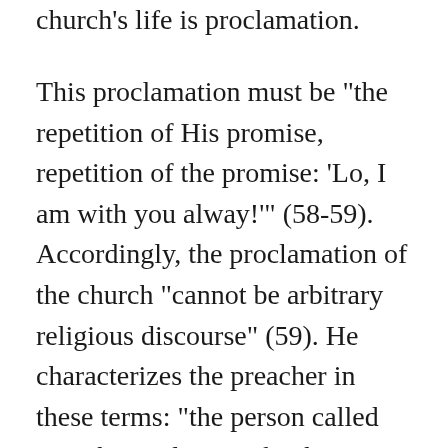church's life is proclamation.
This proclamation must be "the repetition of His promise, repetition of the promise: 'Lo, I am with you alway!'" (58-59). Accordingly, the proclamation of the church "cannot be arbitrary religious discourse" (59). He characterizes the preacher in these terms: "the person called must be ready to make the promise given to the Church intelligible in his own words to the men of his own time. Calling, promise, exposition of Scripture, actuality--these are the decisive definitions of the concept of preaching" (59). For Barth, "proclamation must mean repetition of the divine promise. On